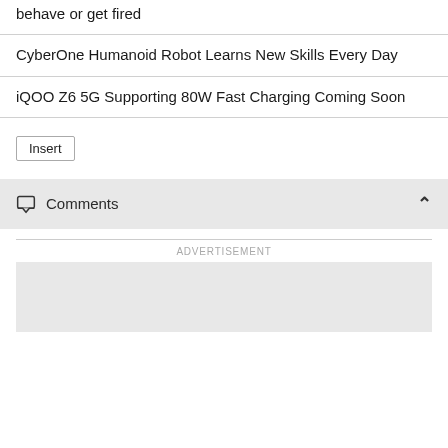behave or get fired
CyberOne Humanoid Robot Learns New Skills Every Day
iQOO Z6 5G Supporting 80W Fast Charging Coming Soon
Insert
Comments
ADVERTISEMENT